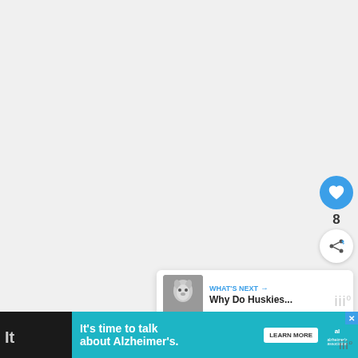[Figure (screenshot): Large white/light gray blank content area taking up most of the page, representing a video or article content area]
[Figure (infographic): Blue circular like/heart button, like count '8', and white circular share button on the right sidebar]
[Figure (infographic): What's Next panel showing a thumbnail of a husky dog and text 'WHAT'S NEXT → Why Do Huskies...']
8
[Figure (infographic): Advertisement banner at bottom: teal background with text 'It's time to talk about Alzheimer's.' with LEARN MORE button and Alzheimer's Association logo with close X button]
It
iiio